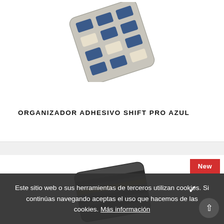[Figure (photo): Product photo of Organizador Adhesivo Shift Pro Azul — a rectangular metal organizer with blue and beige rectangular buttons arranged in a grid, photographed at an angle on a light background.]
ORGANIZADOR ADHESIVO SHIFT PRO AZUL
[Figure (photo): Partial product photo of a second organizer (bottom card), showing the top portion of a dark-colored rectangular metal organizer with horizontal stripes, marked as New.]
Este sitio web o sus herramientas de terceros utilizan cookies. Si continúas navegando aceptas el uso que hacemos de las cookies. Más información